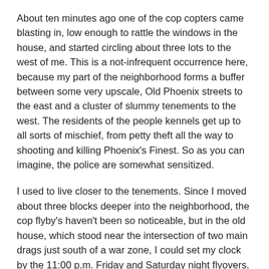About ten minutes ago one of the cop copters came blasting in, low enough to rattle the windows in the house, and started circling about three lots to the west of me. This is a not-infrequent occurrence here, because my part of the neighborhood forms a buffer between some very upscale, Old Phoenix streets to the east and a cluster of slummy tenements to the west. The residents of the people kennels get up to all sorts of mischief, from petty theft all the way to shooting and killing Phoenix's Finest. So as you can imagine, the police are somewhat sensitized.
I used to live closer to the tenements. Since I moved about three blocks deeper into the neighborhood, the cop flyby's haven't been so noticeable, but in the old house, which stood near the intersection of two main drags just south of a war zone, I could set my clock by the 11:00 p.m. Friday and Saturday night flyovers.